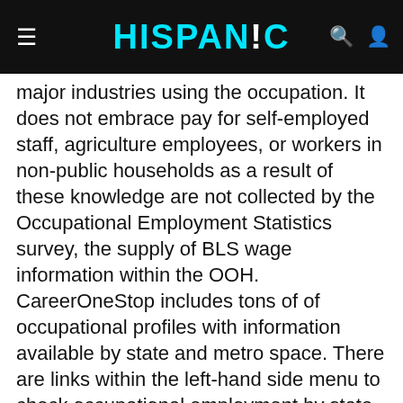HiSPAN!C
major industries using the occupation. It does not embrace pay for self-employed staff, agriculture employees, or workers in non-public households as a result of these knowledge are not collected by the Occupational Employment Statistics survey, the supply of BLS wage information within the OOH. CareerOneStop includes tons of of occupational profiles with information available by state and metro space. There are links within the left-hand side menu to check occupational employment by state and occupational wages by native space or metro space.
We use your LinkedIn profile and activity data to personalize ads and to point out you extra relevant advertisements. The How to Become One tab describes the way to put together for a job in the occupation. This tab can include information on training, training, work experience, licensing and certification, and necessary qualities that are required or useful for entering or working in the occupation. Occupational employment projections are developed for all states by Labor Market Information or individual state Employment Projections places of work. All state projections information are available at Information on this web